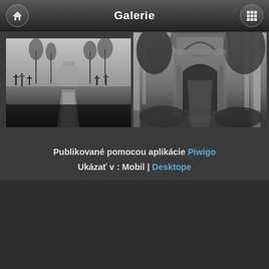Galerie
[Figure (photo): Black and white photograph of a cemetery with gravestones, crosses, and bare trees along a path]
[Figure (photo): Black and white photograph of a Gothic stone archway entrance surrounded by tall white birch trees and overgrown vegetation]
Publikované pomocou aplikácie Piwigo Ukázať v : Mobil | Desktope